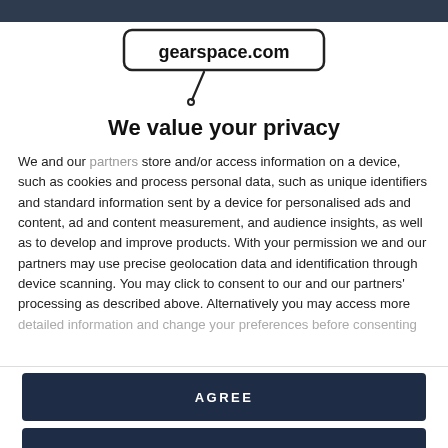gearspace.com
We value your privacy
We and our partners store and/or access information on a device, such as cookies and process personal data, such as unique identifiers and standard information sent by a device for personalised ads and content, ad and content measurement, and audience insights, as well as to develop and improve products. With your permission we and our partners may use precise geolocation data and identification through device scanning. You may click to consent to our and our partners' processing as described above. Alternatively you may access more detailed information and change your preferences before consenting
AGREE
MORE OPTIONS